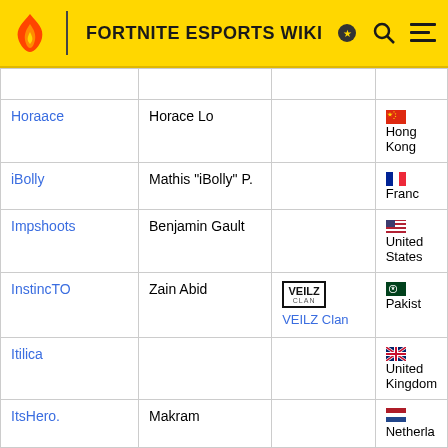FORTNITE ESPORTS WIKI
| Handle | Name | Team | Nationality |
| --- | --- | --- | --- |
|  |  |  |  |
| Horaace | Horace Lo |  | Hong Kong |
| iBolly | Mathis "iBolly" P. |  | France |
| Impshoots | Benjamin Gault |  | United States |
| InstincTO | Zain Abid | VEILZ Clan | Pakistan |
| Itilica |  |  | United Kingdom |
| ItsHero. | Makram |  | Netherlands |
| J4X | Jassim Mohamed M... | Diggers Esports | Bahrain |